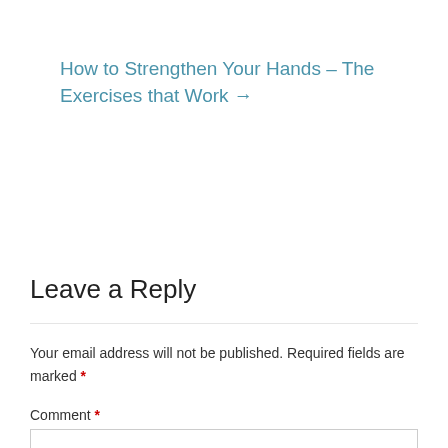How to Strengthen Your Hands – The Exercises that Work →
Leave a Reply
Your email address will not be published. Required fields are marked *
Comment *